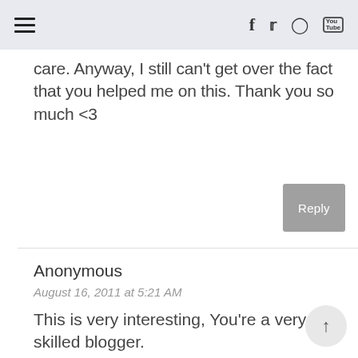≡  f  🐦  ⊡  ▶
care. Anyway, I still can't get over the fact that you helped me on this. Thank you so much <3
Reply
Anonymous
August 16, 2011 at 5:21 AM
This is very interesting, You're a very skilled blogger.